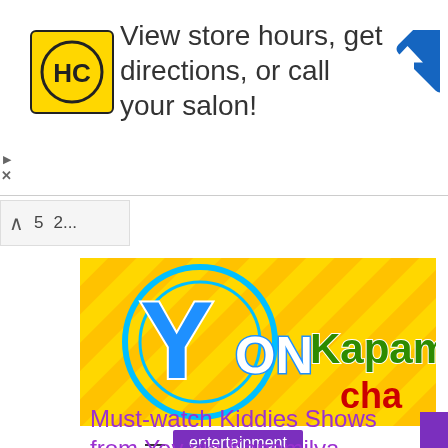[Figure (screenshot): Advertisement banner: HC salon logo on yellow background, text 'View store hours, get directions, or call your salon!' and a blue navigation arrow icon on the right.]
2...
[Figure (screenshot): Colorful yellow and cyan striped image with 'Yey ON Kapamilya Channel' branding - a children's TV channel logo.]
— entertainment
Must-watch Kiddies Shows from Yey via Kapamilya Channel,